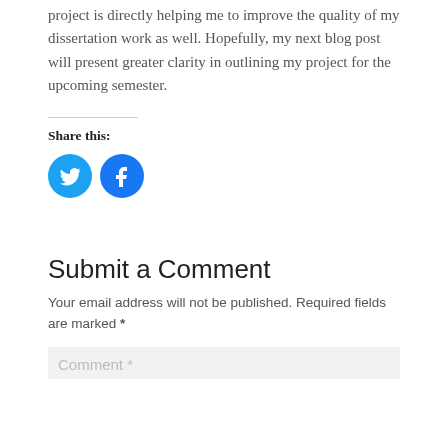project is directly helping me to improve the quality of my dissertation work as well. Hopefully, my next blog post will present greater clarity in outlining my project for the upcoming semester.
Share this:
[Figure (illustration): Twitter and Facebook share icon buttons — two blue circles with white bird (Twitter) and white 'f' (Facebook) logos]
Submit a Comment
Your email address will not be published. Required fields are marked *
Comment *